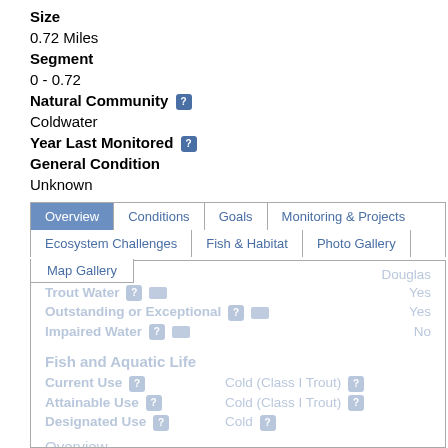Size
0.72 Miles
Segment
0 - 0.72
Natural Community
Coldwater
Year Last Monitored
General Condition
Unknown
[Figure (screenshot): Web application UI showing tabbed interface with Overview, Conditions, Goals, Monitoring & Projects tabs, and Ecosystem Challenges, Fish & Habitat, Photo Gallery, Map Gallery sub-tabs. Content panel shows County: Douglas, Trout Water: Yes, Outstanding or Exceptional: Yes, Impaired Water: No, Fish and Aquatic Life section with Current Use: Cold (Class I Trout), Attainable Use: Cold (Class I Trout), Designated Use: Cold. Overview section with text: Trib to Bois Brule River S34-15 (SWSE), in the Bois Brule River Watershed, is a 0.72 mile river that falls in...]